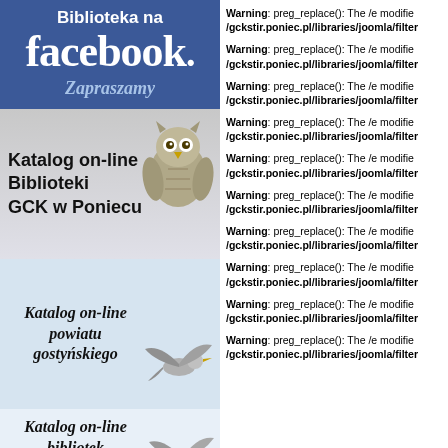[Figure (illustration): Facebook promotional banner with blue background showing 'Biblioteka na facebook. Zapraszamy']
Katalog on-line Biblioteki GCK w Poniecu
[Figure (illustration): Owl bird illustration]
Katalog on-line powiatu gostyńskiego
[Figure (illustration): Flying bird illustration]
Katalog on-line bibliotek województwa
[Figure (illustration): Flying bird illustration]
Warning: preg_replace(): The /e modifier is deprecated, use preg_replace_callback instead in /gckstir.poniec.pl/libraries/joomla/filter
Warning: preg_replace(): The /e modifier is deprecated, use preg_replace_callback instead in /gckstir.poniec.pl/libraries/joomla/filter
Warning: preg_replace(): The /e modifier is deprecated, use preg_replace_callback instead in /gckstir.poniec.pl/libraries/joomla/filter
Warning: preg_replace(): The /e modifier is deprecated, use preg_replace_callback instead in /gckstir.poniec.pl/libraries/joomla/filter
Warning: preg_replace(): The /e modifier is deprecated, use preg_replace_callback instead in /gckstir.poniec.pl/libraries/joomla/filter
Warning: preg_replace(): The /e modifier is deprecated, use preg_replace_callback instead in /gckstir.poniec.pl/libraries/joomla/filter
Warning: preg_replace(): The /e modifier is deprecated, use preg_replace_callback instead in /gckstir.poniec.pl/libraries/joomla/filter
Warning: preg_replace(): The /e modifier is deprecated, use preg_replace_callback instead in /gckstir.poniec.pl/libraries/joomla/filter
Warning: preg_replace(): The /e modifier is deprecated, use preg_replace_callback instead in /gckstir.poniec.pl/libraries/joomla/filter
Warning: preg_replace(): The /e modifier is deprecated, use preg_replace_callback instead in /gckstir.poniec.pl/libraries/joomla/filter